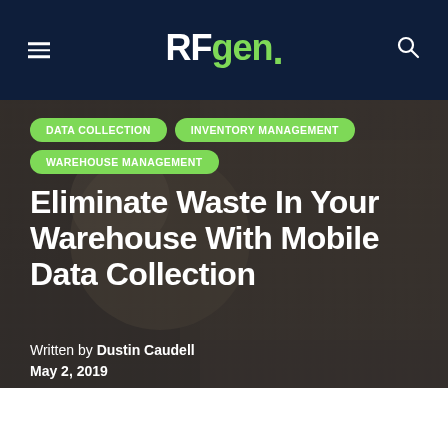RFgen.
DATA COLLECTION
INVENTORY MANAGEMENT
WAREHOUSE MANAGEMENT
Eliminate Waste In Your Warehouse With Mobile Data Collection
Written by Dustin Caudell
May 2, 2019
To remain competitive in their
[Figure (photo): Photo of warehouse scanner/barcode device held in a hand with warehouse boxes in background]